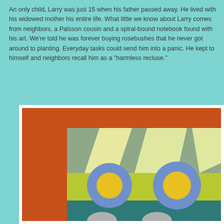An only child, Larry was just 15 when his father passed away. He lived with his widowed mother his entire life. What little we know about Larry comes from neighbors, a Palsson cousin and a spiral-bound notebook found with his art. We're told he was forever buying rosebushes that he never got around to planting. Everyday tasks could send him into a panic. He kept to himself and neighbors recall him as a "harmless recluse."
[Figure (illustration): Abstract painting with an orange frame/border. Inside shows a sage green background with yellow-cream trapezoid light beam shapes. Two prominent blue circles each containing a yellow circle (like eyes or targets) are visible. The lower portion shows an olive/lime green band and a teal/dark teal band at the bottom with grey shapes.]